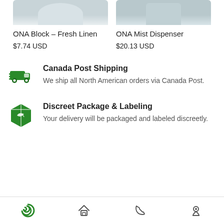[Figure (photo): Partial product images at top of page — ONA Block Fresh Linen and ONA Mist Dispenser product images cropped at top]
ONA Block – Fresh Linen
$7.74 USD
ONA Mist Dispenser
$20.13 USD
[Figure (illustration): Green delivery truck icon with speed lines]
Canada Post Shipping
We ship all North American orders via Canada Post.
[Figure (illustration): Green package/box icon with leaf design]
Discreet Package & Labeling
Your delivery will be packaged and labeled discreetly.
[Figure (illustration): Bottom navigation bar with green spiral logo, home icon, phone icon, and location pin icon]